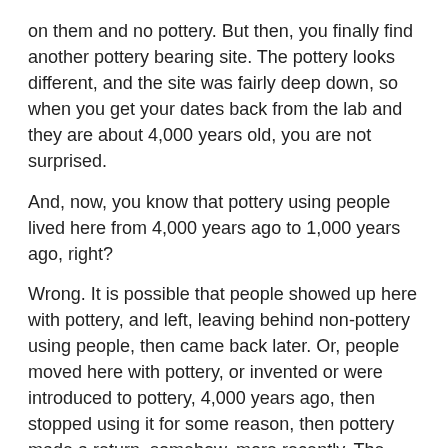on them and no pottery. But then, you finally find another pottery bearing site. The pottery looks different, and the site was fairly deep down, so when you get your dates back from the lab and they are about 4,000 years old, you are not surprised.
And, now, you know that pottery using people lived here from 4,000 years ago to 1,000 years ago, right?
Wrong. It is possible that people showed up here with pottery, and left, leaving behind non-pottery using people, then came back later. Or, people moved here with pottery, or invented or were introduced to pottery, 4,000 years ago, then stopped using it for some reason, then pottery made a return, somehow, more recently. The problem is, most archaeologists will not accept that once something happens, it can unhappen, even though we actually do know of places in the world where pottery was brought there with the first people, then forgotten about or rejected for some reason, later.
So, here's the idea. During warm periods, like the interglacial of roughly the age of the CM site, and the present, hominins tend to spread. Even the ones that like warmer regions, maybe not even humans, spread around during warm periods, and spread